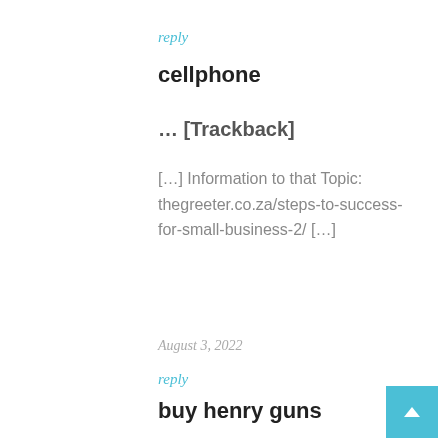reply
cellphone
… [Trackback]
[…] Information to that Topic: thegreeter.co.za/steps-to-success-for-small-business-2/ […]
August 3, 2022
reply
buy henry guns